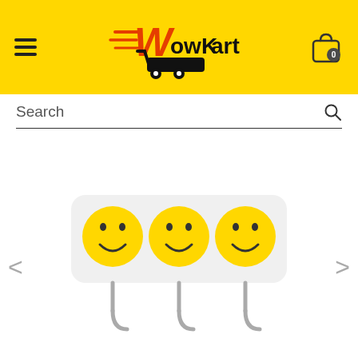[Figure (logo): WowKart e-commerce logo with yellow shopping cart and stylized W text on yellow header background]
Search
[Figure (photo): Three yellow smiley face wall hooks mounted on a white rectangular plastic base with metal hooks hanging below each face]